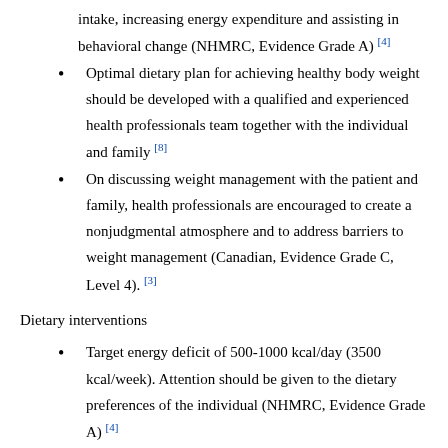intake, increasing energy expenditure and assisting in behavioral change (NHMRC, Evidence Grade A) [4]
Optimal dietary plan for achieving healthy body weight should be developed with a qualified and experienced health professionals team together with the individual and family [8]
On discussing weight management with the patient and family, health professionals are encouraged to create a nonjudgmental atmosphere and to address barriers to weight management (Canadian, Evidence Grade C, Level 4). [3]
Dietary interventions
Target energy deficit of 500-1000 kcal/day (3500 kcal/week). Attention should be given to the dietary preferences of the individual (NHMRC, Evidence Grade A) [4]
Provide advice on dietary modification appropriate to the patient condition (type, quantity, and/or frequency) to achieve and maintain a hypocaloric intake (a high-protein or a low-fat diet with acceptable macronutrient distribution ranges). Patients should be advised to